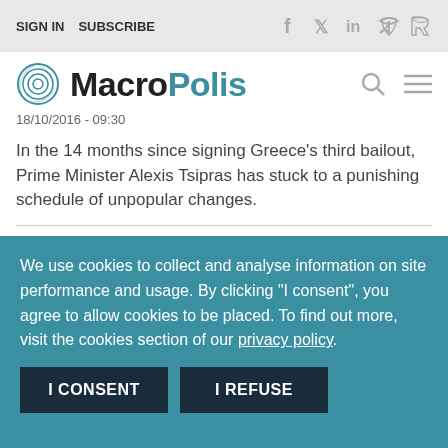SIGN IN   SUBSCRIBE
[Figure (logo): MacroPolis logo with teal spiral circle icon and bold text MacroPolis]
18/10/2016 - 09:30
In the 14 months since signing Greece's third bailout, Prime Minister Alexis Tsipras has stuck to a punishing schedule of unpopular changes.
Greece gears up for second review, faces wide-ranging reform to-do list
We use cookies to collect and analyse information on site performance and usage. By clicking "I consent", you agree to allow cookies to be placed. To find out more, visit the cookies section of our privacy policy.